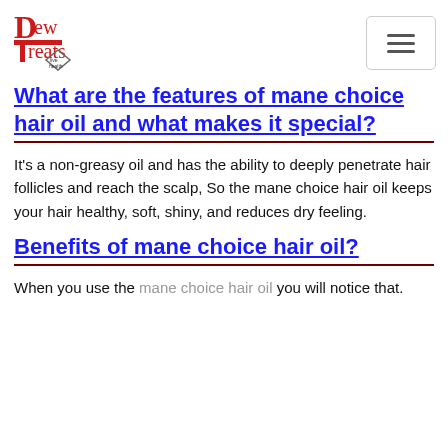Dew Treats [logo]
What are the features of mane choice hair oil and what makes it special?
It's a non-greasy oil and has the ability to deeply penetrate hair follicles and reach the scalp, So the mane choice hair oil keeps your hair healthy, soft, shiny, and reduces dry feeling.
Benefits of mane choice hair oil?
When you use the mane choice hair oil you will notice that.